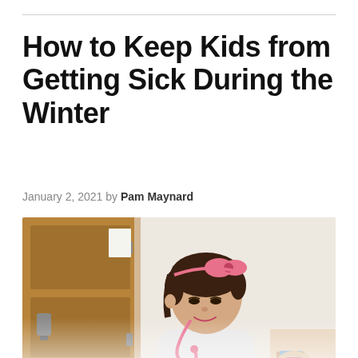How to Keep Kids from Getting Sick During the Winter
January 2, 2021 by Pam Maynard
[Figure (photo): A young girl with a pink headband and pink stethoscope smiles while looking down, sitting in a medical exam room with a wooden door in the background. A healthcare provider's hand is visible near her arm.]